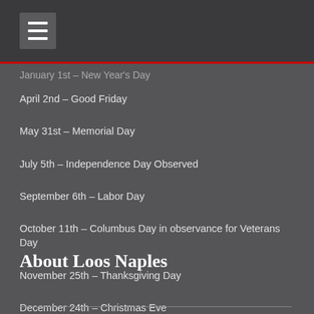January 1st – New Year's Day
April 2nd – Good Friday
May 31st – Memorial Day
July 5th – Independence Day Observed
September 6th – Labor Day
October 11th – Columbus Day in observance for Veterans Day
November 25th – Thanksgiving Day
December 24th – Christmas Eve
December 25th – Christmas Day
About Loos Naples